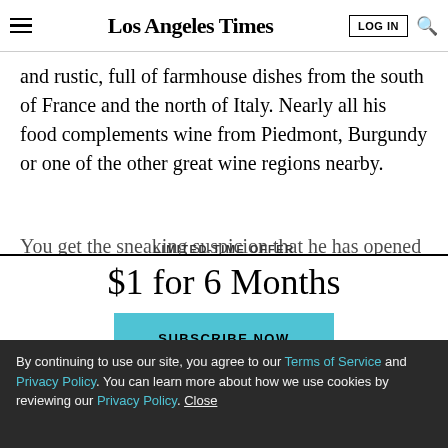Los Angeles Times
and rustic, full of farmhouse dishes from the south of France and the north of Italy. Nearly all his food complements wine from Piedmont, Burgundy or one of the other great wine regions nearby.
You get the sneaking suspicion that he has opened a
LIMITED-TIME OFFER
$1 for 6 Months
SUBSCRIBE NOW
By continuing to use our site, you agree to our Terms of Service and Privacy Policy. You can learn more about how we use cookies by reviewing our Privacy Policy. Close